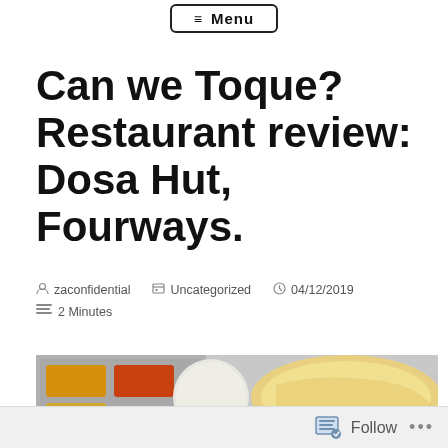≡ Menu
Can we Toque? Restaurant review: Dosa Hut, Fourways.
zaconfidential   Uncategorized   04/12/2019   2 Minutes
[Figure (photo): Photo of Indian food: a metal tray with compartments containing yellow dal, orange chutney, and other condiments, alongside a large crispy dosa and a white plate.]
Follow   ...